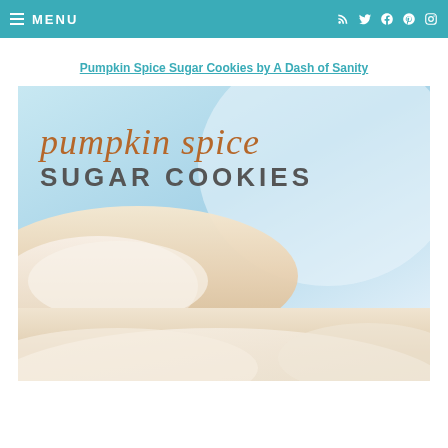MENU
Pumpkin Spice Sugar Cookies by A Dash of Sanity
[Figure (photo): Food blog image showing pumpkin spice sugar cookies with text overlay reading 'pumpkin spice SUGAR COOKIES' on a light blue background, with close-up of frosted sugar cookies below]
[Figure (photo): Close-up partial view of frosted sugar cookie at bottom of page]